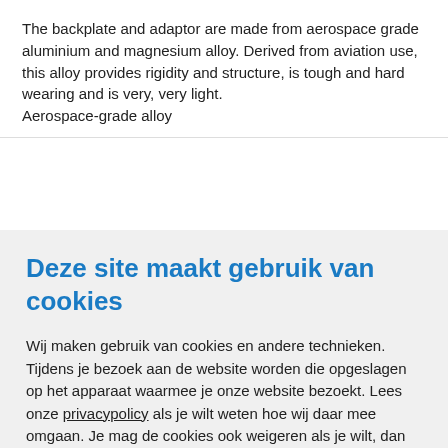The backplate and adaptor are made from aerospace grade aluminium and magnesium alloy. Derived from aviation use, this alloy provides rigidity and structure, is tough and hard wearing and is very, very light.
Aerospace-grade alloy
Deze site maakt gebruik van cookies
Wij maken gebruik van cookies en andere technieken. Tijdens je bezoek aan de website worden die opgeslagen op het apparaat waarmee je onze website bezoekt. Lees onze privacypolicy als je wilt weten hoe wij daar mee omgaan. Je mag de cookies ook weigeren als je wilt, dan plaatsen we alleen functionele en analytische cookies.
Cookie instellingen
Alles accepteren